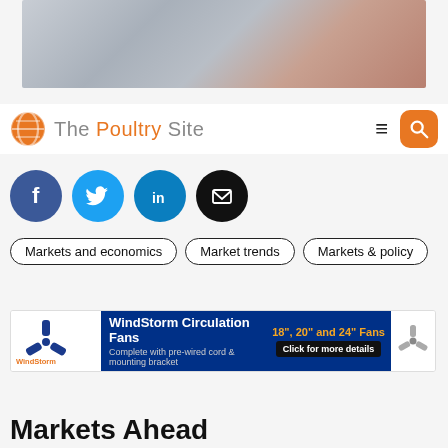[Figure (photo): Hero image at top of page, blurred poultry/chicken related photo with gray and brown tones]
[Figure (logo): The Poultry Site logo with orange globe icon and text 'The Poultry Site', hamburger menu icon, and orange search button]
[Figure (infographic): Social share buttons: Facebook (dark blue circle with f), Twitter (light blue circle with bird), LinkedIn (teal circle with in), Email (black circle with envelope)]
Markets and economics
Market trends
Markets & policy
[Figure (infographic): WindStorm Circulation Fans advertisement banner: 18", 20" and 24" Fans, Complete with pre-wired cord & mounting bracket, Click for more details]
F
Markets Ahead